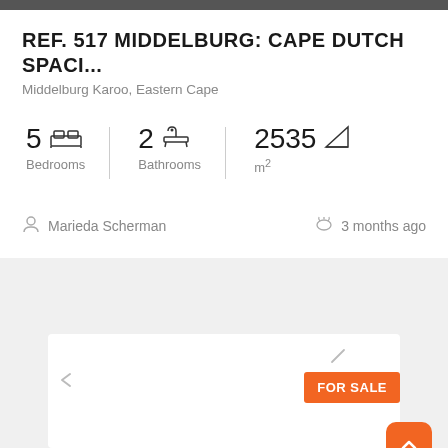REF. 517 MIDDELBURG: CAPE DUTCH SPACI...
Middelburg Karoo, Eastern Cape
5 Bedrooms  |  2 Bathrooms  |  2535 m²
Marieda Scherman
3 months ago
[Figure (other): Property image placeholder with FOR SALE badge]
FOR SALE